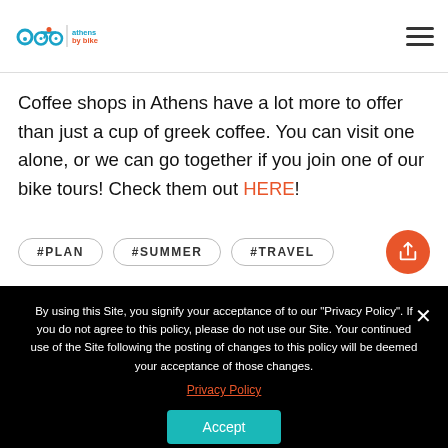athens by bike — navigation header with logo and hamburger menu
Coffee shops in Athens have a lot more to offer than just a cup of greek coffee. You can visit one alone, or we can go together if you join one of our bike tours! Check them out HERE!
#PLAN
#SUMMER
#TRAVEL
By using this Site, you signify your acceptance of to our "Privacy Policy". If you do not agree to this policy, please do not use our Site. Your continued use of the Site following the posting of changes to this policy will be deemed your acceptance of those changes.
Privacy Policy
Accept